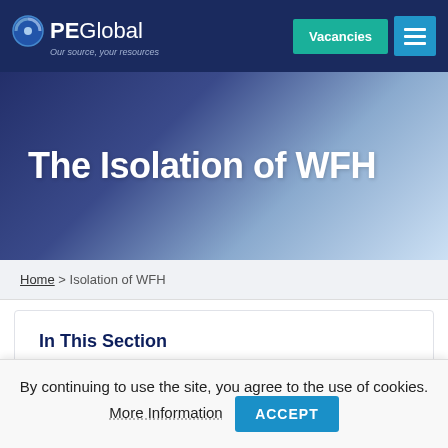PE Global — Our source, your resources | Vacancies | Menu
The Isolation of WFH
Home > Isolation of WFH
In This Section
Client Services
By continuing to use the site, you agree to the use of cookies. More Information ACCEPT